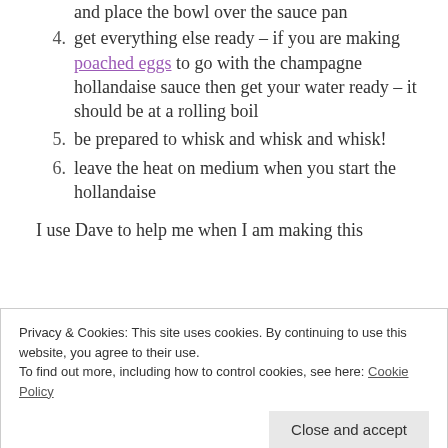and place the bowl over the sauce pan
4. get everything else ready – if you are making poached eggs to go with the champagne hollandaise sauce then get your water ready – it should be at a rolling boil
5. be prepared to whisk and whisk and whisk!
6. leave the heat on medium when you start the hollandaise
I use Dave to help me when I am making this
Privacy & Cookies: This site uses cookies. By continuing to use this website, you agree to their use.
To find out more, including how to control cookies, see here: Cookie Policy
what the jug is for. As soon as it is the right